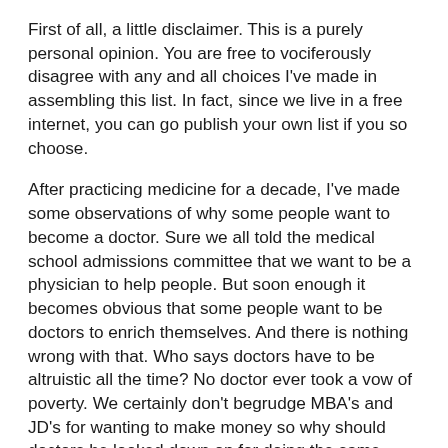First of all, a little disclaimer. This is a purely personal opinion. You are free to vociferously disagree with any and all choices I've made in assembling this list. In fact, since we live in a free internet, you can go publish your own list if you so choose.
After practicing medicine for a decade, I've made some observations of why some people want to become a doctor. Sure we all told the medical school admissions committee that we want to be a physician to help people. But soon enough it becomes obvious that some people want to be doctors to enrich themselves. And there is nothing wrong with that. Who says doctors have to be altruistic all the time? No doctor ever took a vow of poverty. We certainly don't begrudge MBA's and JD's for wanting to make money so why should doctors be looked down on for doing the same thing?
But first I want to list the medical fields who are definitely NOT working for the money. They represent the purest examples of what people believe doctors should be. Not surprisingly most of them are in primary care. Unless